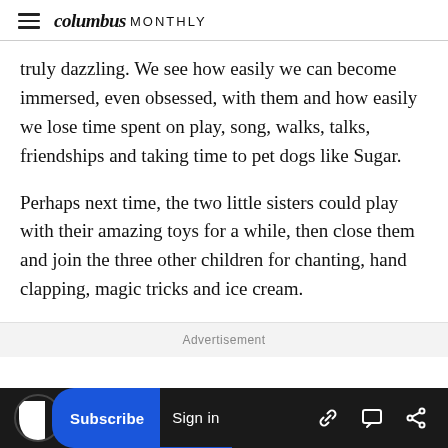columbus MONTHLY
truly dazzling. We see how easily we can become immersed, even obsessed, with them and how easily we lose time spent on play, song, walks, talks, friendships and taking time to pet dogs like Sugar.
Perhaps next time, the two little sisters could play with their amazing toys for a while, then close them and join the three other children for chanting, hand clapping, magic tricks and ice cream.
Advertisement
Subscribe  Sign in